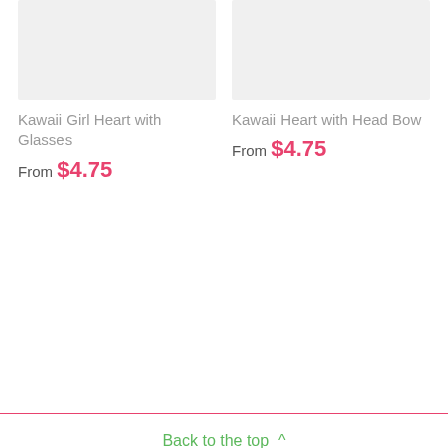[Figure (photo): Product image placeholder for Kawaii Girl Heart with Glasses]
[Figure (photo): Product image placeholder for Kawaii Heart with Head Bow]
Kawaii Girl Heart with Glasses
From $4.75
Kawaii Heart with Head Bow
From $4.75
Back to the top ^
Email address